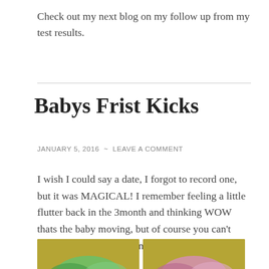Check out my next blog on my follow up from my test results.
Babys Frist Kicks
JANUARY 5, 2016 ~ LEAVE A COMMENT
I wish I could say a date, I forgot to record one, but it was MAGICAL! I remember feeling a little flutter back in the 3month and thinking WOW thats the baby moving, but of course you can't really be sure at that point.
[Figure (illustration): Two cartoon-style illustrated panels side by side with a golden/olive yellow background, showing partial cartoon faces or characters with colorful curved shapes at the bottom of the page.]